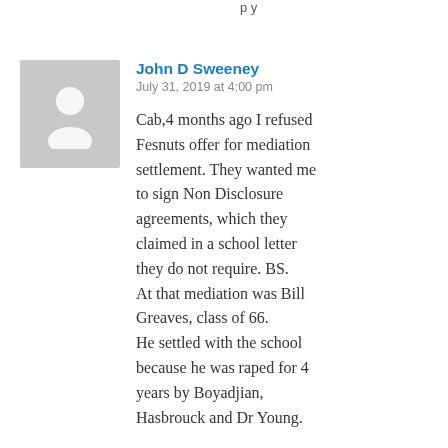John D Sweeney
July 31, 2019 at 4:00 pm
Cab,4 months ago I refused Fesnuts offer for mediation settlement. They wanted me to sign Non Disclosure agreements, which they claimed in a school letter they do not require. BS.
At that mediation was Bill Greaves, class of 66.
He settled with the school because he was raped for 4 years by Boyadjian, Hasbrouck and Dr Young.